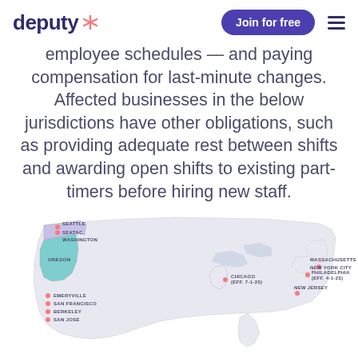deputy [logo] | Join for free | menu
employee schedules — and paying compensation for last-minute changes. Affected businesses in the below jurisdictions have other obligations, such as providing adequate rest between shifts and awarding open shifts to existing part-timers before hiring new staff.
[Figure (map): Map of the United States highlighting jurisdictions with predictive scheduling laws, including Seattle, SeaTac, Washington (state), Oregon (state), Emeryville, San Francisco, Berkeley, San Jose, Chicago (eff. 7-1-23), New Jersey, Massachusetts, New York City, and Philadelphia (eff. 4-1-23).]